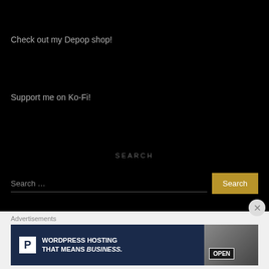Check out my Depop shop!
Support me on Ko-Fi!
SEARCH
Search …
Advertisements
[Figure (illustration): Advertisement banner for WordPress Hosting with P logo on left and OPEN sign image on right, text reads WORDPRESS HOSTING THAT MEANS BUSINESS.]